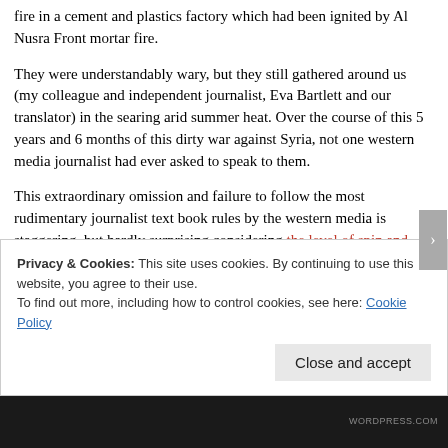fire in a cement and plastics factory which had been ignited by Al Nusra Front mortar fire.
They were understandably wary, but they still gathered around us (my colleague and independent journalist, Eva Bartlett and our translator) in the searing arid summer heat. Over the course of this 5 years and 6 months of this dirty war against Syria, not one western media journalist had ever asked to speak to them.
This extraordinary omission and failure to follow the most rudimentary journalist text book rules by the western media is staggering, but hardly surprising considering the level of spin and propaganda employed daily by the likes of the BBC, CNN, FOX News, The Guardian, New York Times, and Washington
Privacy & Cookies: This site uses cookies. By continuing to use this website, you agree to their use.
To find out more, including how to control cookies, see here: Cookie Policy
Close and accept